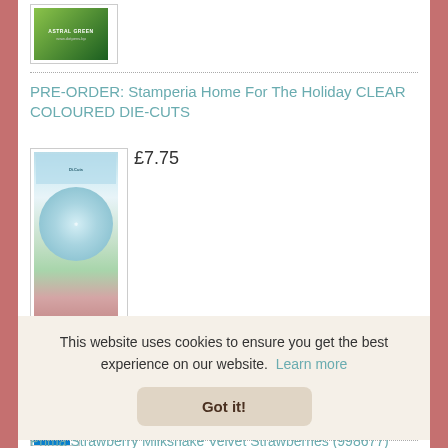[Figure (photo): Partial product image at top showing a green package labeled Astral Green]
PRE-ORDER: Stamperia Home For The Holiday CLEAR COLOURED DIE-CUTS
[Figure (photo): Product image of Stamperia Home For The Holiday CLEAR COLOURED DIE-CUTS showing holiday wreath with birds and flowers]
£7.75
PRE-ORDER: Stamperia 8x8 Paper Packs - COSMOS INF
[Figure (photo): Partial product image of Stamperia 8x8 Paper Packs COSMOS INF]
This website uses cookies to ensure you get the best experience on our website.  Learn more
Got it!
Prima Strawberry Milkshake Velvet Strawberries (998677)